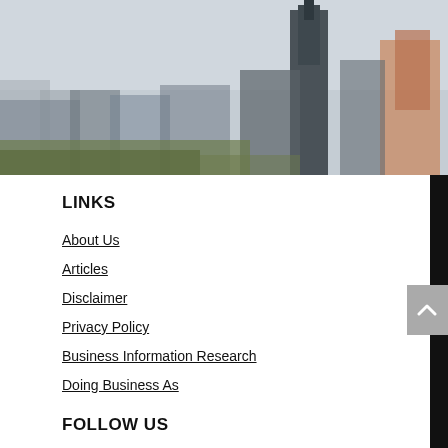[Figure (photo): City skyline background photograph showing skyscrapers and urban landscape with a gray-blue sky]
LINKS
About Us
Articles
Disclaimer
Privacy Policy
Business Information Research
Doing Business As
FOLLOW US